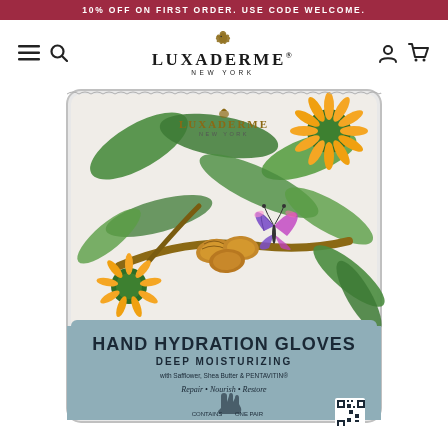10% OFF ON FIRST ORDER. USE CODE WELCOME.
[Figure (logo): Luxaderme New York logo with bird icon, centered in navigation bar]
[Figure (photo): Luxaderme Hand Hydration Gloves product package. The packaging features botanical illustrations of safflower plants, almonds, green leaves, and a colorful butterfly on a white/cream background. The bottom section is light blue/grey with bold text: HAND HYDRATION GLOVES, DEEP MOISTURIZING, with Safflower, Shea Butter & PENTAVITIN, Repair • Nourish • Restore, CONTAINS ONE PAIR, and a QR code.]